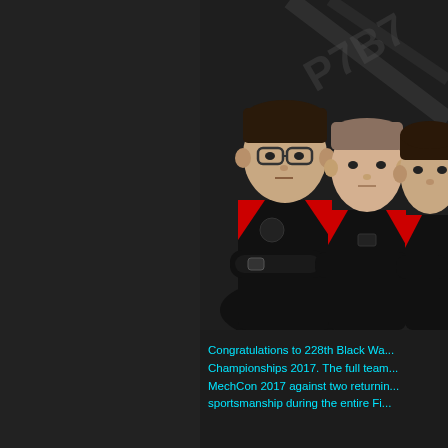[Figure (photo): Three young men in black and red esports jerseys standing with arms crossed against a dark background with a diagonal logo/text graphic]
Congratulations to 228th Black Wa... Championships 2017. The full team... MechCon 2017 against two returnin... sportsmanship during the entire Fi...